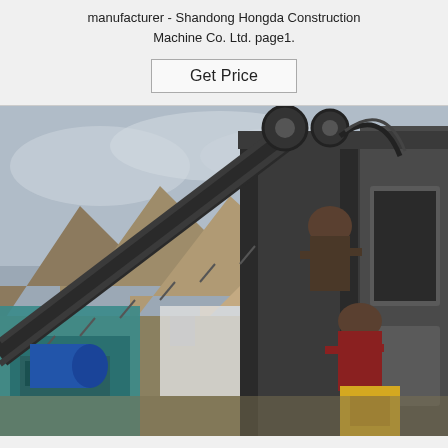manufacturer - Shandong Hongda Construction Machine Co. Ltd. page1.
[Figure (other): A button labeled 'Get Price' with a rectangular border on a light gray background.]
[Figure (photo): Outdoor photograph of a large construction block-making machine with a conveyor belt, workers operating it, set against a mountainous desert landscape with an overcast sky.]